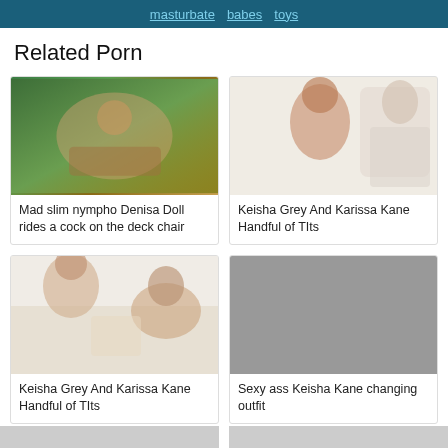masturbate  babes  toys
Related Porn
[Figure (photo): Outdoor sex scene with woman on top]
Mad slim nympho Denisa Doll rides a cock on the deck chair
[Figure (photo): Two people in intimate scene indoors]
Keisha Grey And Karissa Kane Handful of TIts
[Figure (photo): Massage scene with two people]
Keisha Grey And Karissa Kane Handful of TIts
[Figure (photo): Gray placeholder image]
Sexy ass Keisha Kane changing outfit